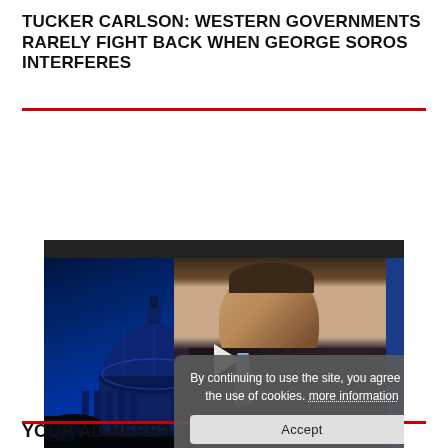TUCKER CARLSON: WESTERN GOVERNMENTS RARELY FIGHT BACK WHEN GEORGE SOROS INTERFERES
[Figure (screenshot): Video player screenshot showing Tucker Carlson in front of a blue-lit Capitol building background, with a play button overlay, video controls showing 00:00 / 12:22, and a cookie consent popup overlay reading 'By continuing to use the site, you agree to the use of cookies. more information' with an Accept button]
YOUR AD HERE?